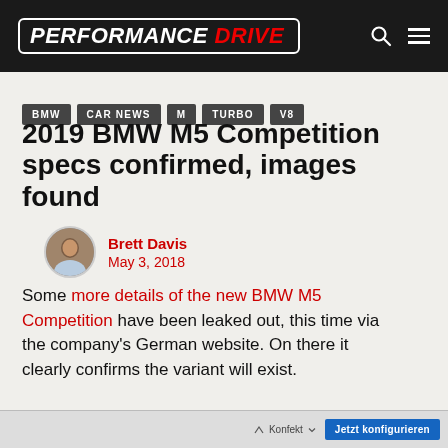PERFORMANCE DRIVE
BMW
CAR NEWS
M
TURBO
V8
2019 BMW M5 Competition specs confirmed, images found
Brett Davis
May 3, 2018
Some more details of the new BMW M5 Competition have been leaked out, this time via the company's German website. On there it clearly confirms the variant will exist.
[Figure (screenshot): Bottom browser strip showing Konfekt dropdown and Jetzt konfigurieren button]